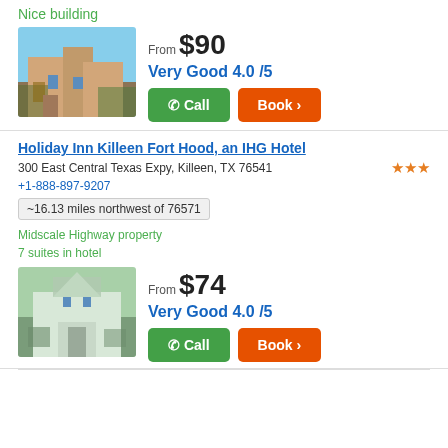Nice building
[Figure (photo): Exterior photo of a hotel building with trees and cloudy sky]
From $90
Very Good 4.0 /5
Holiday Inn Killeen Fort Hood, an IHG Hotel
300 East Central Texas Expy, Killeen, TX 76541
+1-888-897-9207
~16.13 miles northwest of 76571
Midscale Highway property
7 suites in hotel
[Figure (photo): Exterior photo of Holiday Inn Killeen Fort Hood hotel with canopy entrance]
From $74
Very Good 4.0 /5